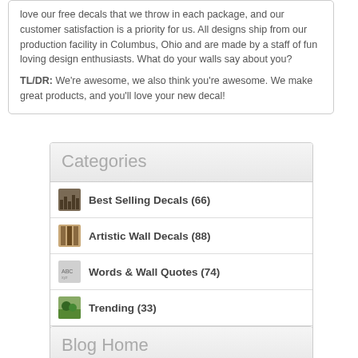love our free decals that we throw in each package, and our customer satisfaction is a priority for us. All designs ship from our production facility in Columbus, Ohio and are made by a staff of fun loving design enthusiasts. What do your walls say about you?

TL/DR: We're awesome, we also think you're awesome. We make great products, and you'll love your new decal!
Categories
Best Selling Decals (66)
Artistic Wall Decals (88)
Words & Wall Quotes (74)
Trending (33)
Young at Heart (189)
Blog Home